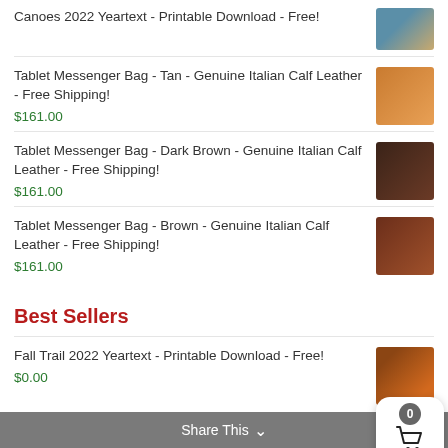Canoes 2022 Yeartext - Printable Download - Free!
Tablet Messenger Bag - Tan - Genuine Italian Calf Leather - Free Shipping!
$161.00
Tablet Messenger Bag - Dark Brown - Genuine Italian Calf Leather - Free Shipping!
$161.00
Tablet Messenger Bag - Brown - Genuine Italian Calf Leather - Free Shipping!
$161.00
Best Sellers
Fall Trail 2022 Yeartext - Printable Download - Free!
$0.00
Waterfall 2022 Yeartext - Printable Download -
Share This